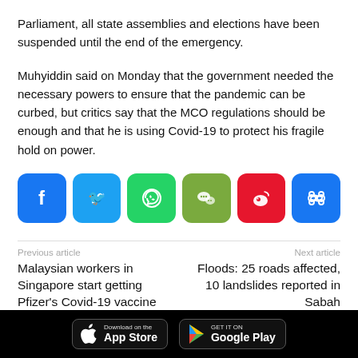Parliament, all state assemblies and elections have been suspended until the end of the emergency.
Muhyiddin said on Monday that the government needed the necessary powers to ensure that the pandemic can be curbed, but critics say that the MCO regulations should be enough and that he is using Covid-19 to protect his fragile hold on power.
[Figure (infographic): Social share buttons: Facebook (blue), Twitter (light blue), WhatsApp (green), WeChat (olive green), Weibo (red), Sharethis (blue)]
Previous article
Next article
Malaysian workers in Singapore start getting Pfizer's Covid-19 vaccine jabs
Floods: 25 roads affected, 10 landslides reported in Sabah
[Figure (infographic): App store download buttons: Download on the App Store, Get it on Google Play]